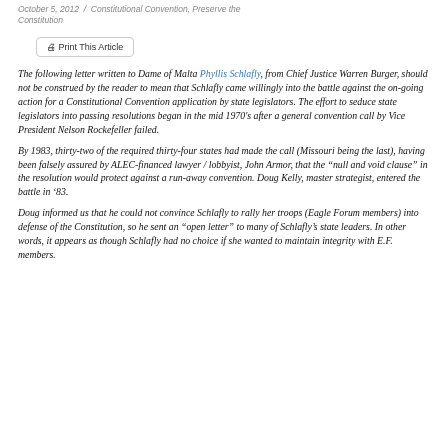October 5, 2012 / Constitutional Convention, Preserve the Constitution
Print This Article
The following letter written to Dame of Malta Phyllis Schlafly, from Chief Justice Warren Burger, should not be construed by the reader to mean that Schlafly came willingly into the battle against the on-going action for a Constitutional Convention application by state legislators. The effort to seduce state legislators into passing resolutions began in the mid 1970's after a general convention call by Vice President Nelson Rockefeller failed.
By 1983, thirty-two of the required thirty-four states had made the call (Missouri being the last), having been falsely assured by ALEC-financed lawyer / lobbyist, John Armor, that the “null and void clause” in the resolution would protect against a run-away convention. Doug Kelly, master strategist, entered the battle in ’83.
Doug informed us that he could not convince Schlafly to rally her troops (Eagle Forum members) into defense of the Constitution, so he sent an “open letter” to many of Schlafly’s state leaders. In other words, it appears as though Schlafly had no choice if she wanted to maintain integrity with E.F. members.